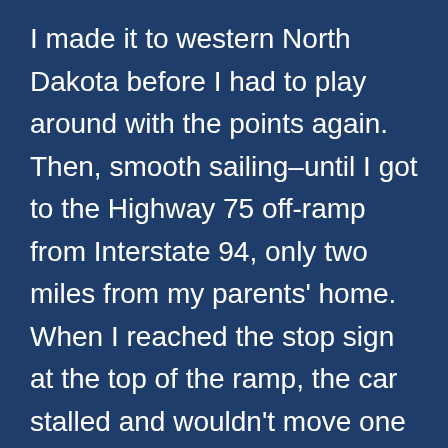I made it to western North Dakota before I had to play around with the points again. Then, smooth sailing–until I got to the Highway 75 off-ramp from Interstate 94, only two miles from my parents' home. When I reached the stop sign at the top of the ramp, the car stalled and wouldn't move one more inch. I engaged the emergency brake, removed the bike, pumped up its tires, and rode three blocks to a gas station on Highway 75 where I arranged to have my car towed to my parents' home.
AAA paid for the towing. I had $240 in my